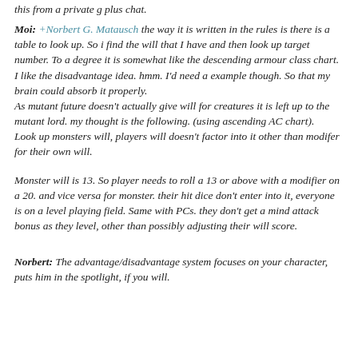this from a private g plus chat.
Moi: +Norbert G. Matausch the way it is written in the rules is there is a table to look up. So i find the will that I have and then look up target number. To a degree it is somewhat like the descending armour class chart. I like the disadvantage idea. hmm. I'd need a example though. So that my brain could absorb it properly.
As mutant future doesn't actually give will for creatures it is left up to the mutant lord. my thought is the following. (using ascending AC chart).
Look up monsters will, players will doesn't factor into it other than modifer for their own will.
Monster will is 13. So player needs to roll a 13 or above with a modifier on a 20. and vice versa for monster. their hit dice don't enter into it, everyone is on a level playing field. Same with PCs. they don't get a mind attack bonus as they level, other than possibly adjusting their will score.
Norbert: The advantage/disadvantage system focuses on your character, puts him in the spotlight, if you will.